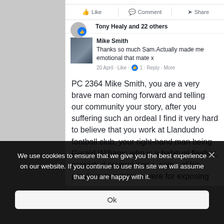[Figure (screenshot): Facebook post screenshot showing Like, Comment, Share buttons; Tony Healy and 22 others liked; Mike Smith comment saying 'Thanks so much Sam.Actually made me emotional that mate x'; and main post text about PC 2364 Mike Smith]
Tony Healy and 22 others
Mike Smith
Thanks so much Sam.Actually made me emotional that mate x
20 April · Like · 1 · Reply · More
PC 2364 Mike Smith, you are a very brave man coming forward and telling our community your story, after you suffering such an ordeal I find it very hard to believe that you work at Llandudno football club, your right-hand man being Gerald Williams who is a habitual flasher, convicted several times, some of his previous convictions were for exposing
We use cookies to ensure that we give you the best experience on our website. If you continue to use this site we will assume that you are happy with it.
Ok